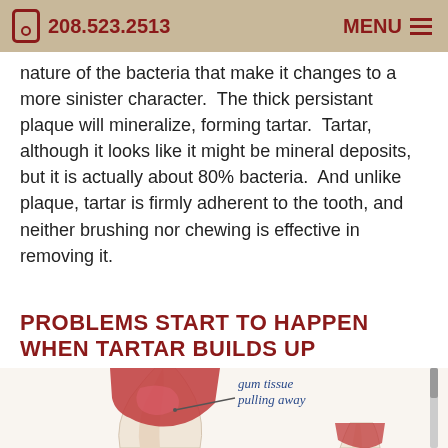208.523.2513  MENU
nature of the bacteria that make it changes to a more sinister character.  The thick persistant plaque will mineralize, forming tartar.  Tartar, although it looks like it might be mineral deposits, but it is actually about 80% bacteria.  And unlike plaque, tartar is firmly adherent to the tooth, and neither brushing nor chewing is effective in removing it.
PROBLEMS START TO HAPPEN WHEN TARTAR BUILDS UP
[Figure (illustration): Medical illustration of a tooth cross-section showing gum tissue pulling away, with annotation text 'gum tissue pulling away' and an arrow pointing to the receding gum line. The tooth root is exposed with inflamed red gum tissue. A second partial tooth is visible at the bottom right.]